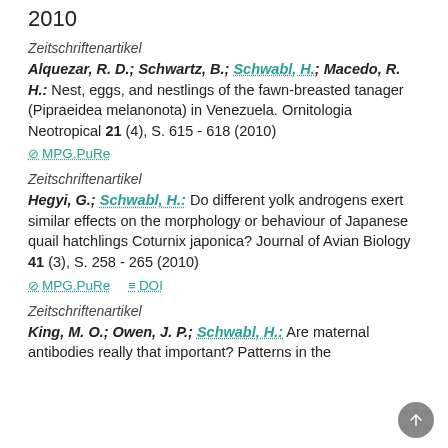2010
Zeitschriftenartikel
Alquezar, R. D.; Schwartz, B.; Schwabl, H.; Macedo, R. H.: Nest, eggs, and nestlings of the fawn-breasted tanager (Pipraeidea melanonota) in Venezuela. Ornitologia Neotropical 21 (4), S. 615 - 618 (2010)
MPG.PuRe
Zeitschriftenartikel
Hegyi, G.; Schwabl, H.: Do different yolk androgens exert similar effects on the morphology or behaviour of Japanese quail hatchlings Coturnix japonica? Journal of Avian Biology 41 (3), S. 258 - 265 (2010)
MPG.PuRe   DOI
Zeitschriftenartikel
King, M. O.; Owen, J. P.; Schwabl, H.: Are maternal antibodies really that important? Patterns in the